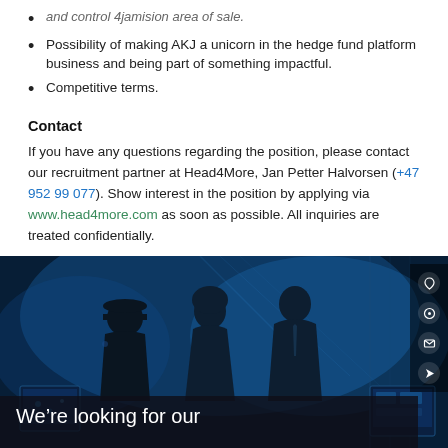and control 4jamision area of sale.
Possibility of making AKJ a unicorn in the hedge fund platform business and being part of something impactful.
Competitive terms.
Contact
If you have any questions regarding the position, please contact our recruitment partner at Head4More, Jan Petter Halvorsen (+47 952 99 077). Show interest in the position by applying via www.head4more.com as soon as possible. All inquiries are treated confidentially.
[Figure (photo): Dark blue-toned photo of three silhouetted people in a high-tech environment, with social media icons on the right edge. Overlay text reads 'We’re looking for our'.]